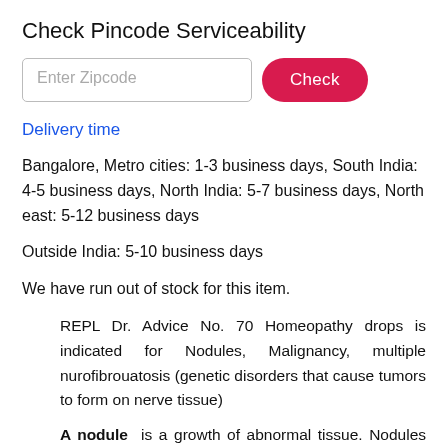Check Pincode Serviceability
Enter Zipcode [input field] Check [button]
Delivery time
Bangalore, Metro cities: 1-3 business days, South India: 4-5 business days, North India: 5-7 business days, North east: 5-12 business days
Outside India: 5-10 business days
We have run out of stock for this item.
REPL Dr. Advice No. 70 Homeopathy drops is indicated for Nodules, Malignancy, multiple nurofibrouatosis (genetic disorders that cause tumors to form on nerve tissue)
A nodule is a growth of abnormal tissue. Nodules can develop just below the skin. They can also develop in